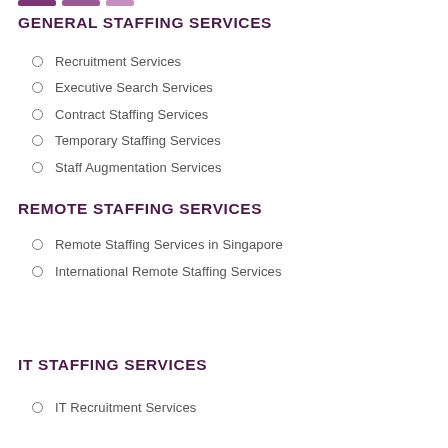GENERAL STAFFING SERVICES
Recruitment Services
Executive Search Services
Contract Staffing Services
Temporary Staffing Services
Staff Augmentation Services
REMOTE STAFFING SERVICES
Remote Staffing Services in Singapore
International Remote Staffing Services
IT STAFFING SERVICES
IT Recruitment Services